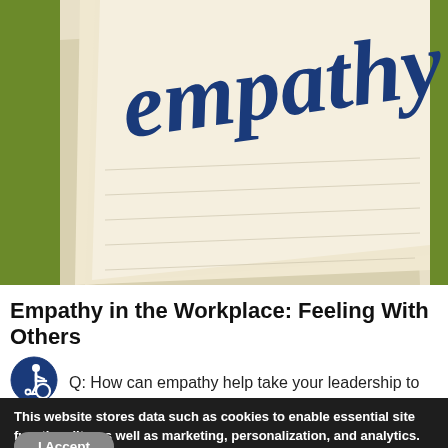[Figure (photo): Photo of a notepad or card with the word 'empathy' written in blue text, placed on a green background. Only the lower portion of the word is visible at the top.]
Empathy in the Workplace: Feeling With Others
[Figure (illustration): Blue circular accessibility/wheelchair icon]
Q: How can empathy help take your leadership to
This website stores data such as cookies to enable essential site functionality, as well as marketing, personalization, and analytics.
By continuing to browse this website you indicate your consent to our Privacy Policy.
To change your settings, click here.
I Accept